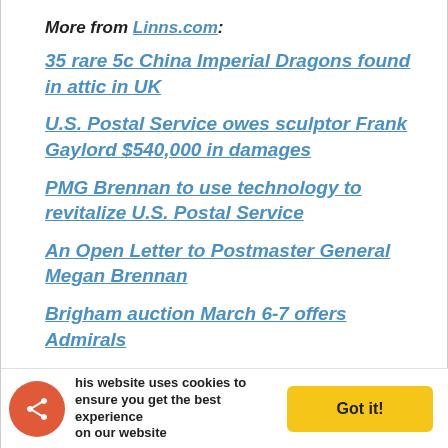More from Linns.com:
35 rare 5c China Imperial Dragons found in attic in UK
U.S. Postal Service owes sculptor Frank Gaylord $540,000 in damages
PMG Brennan to use technology to revitalize U.S. Postal Service
An Open Letter to Postmaster General Megan Brennan
Brigham auction March 6-7 offers Admirals
Keep up with all of Linns.com's news and insights by signing up for our free eNewsletters, liking us on Facebook, and following us on Twitter
This website uses cookies to ensure you get the best experience on our website   Got it!